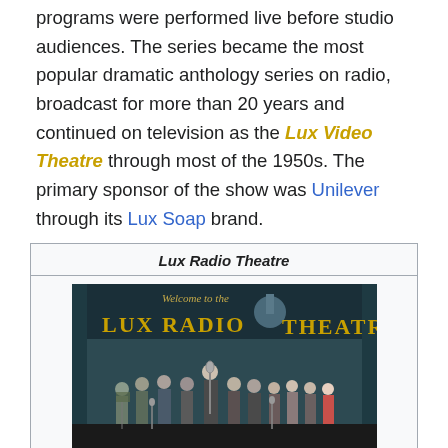programs were performed live before studio audiences. The series became the most popular dramatic anthology series on radio, broadcast for more than 20 years and continued on television as the Lux Video Theatre through most of the 1950s. The primary sponsor of the show was Unilever through its Lux Soap brand.
| Genre | Anthology drama |
| Running time | One hour |
[Figure (photo): Black and white/color photo of performers on stage at Lux Radio Theatre performing before a studio audience in 1948. Banner reads 'Welcome to the Lux Radio Theatre'.]
Performing before a studio audience in 1948